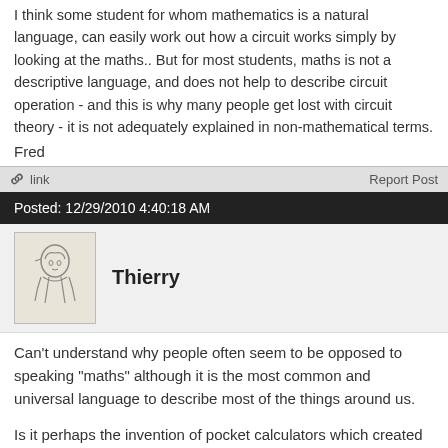I think some student for whom mathematics is a natural language, can easily work out how a circuit works simply by looking at the maths.. But for most students, maths is not a descriptive language, and does not help to describe circuit operation - and this is why many people get lost with circuit theory - it is not adequately explained in non-mathematical terms.
Fred
🔗 link    Report Post
Posted: 12/29/2010 4:40:18 AM
Thierry
Can't understand why people often seem to be opposed to speaking "maths" although it is the most common and universal language to describe most of the things around us.
Is it perhaps the invention of pocket calculators which created this distance between us and their language? At...